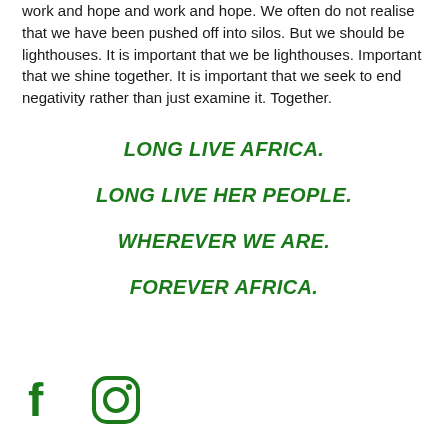work and hope and work and hope. We often do not realise that we have been pushed off into silos. But we should be lighthouses. It is important that we be lighthouses. Important that we shine together. It is important that we seek to end negativity rather than just examine it. Together.
LONG LIVE AFRICA.
LONG LIVE HER PEOPLE.
WHEREVER WE ARE.
FOREVER AFRICA.
[Figure (illustration): Facebook and Instagram social media icons in green color]